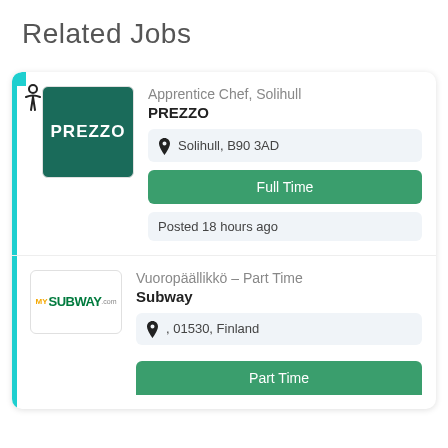Related Jobs
Apprentice Chef, Solihull
PREZZO
Solihull, B90 3AD
Full Time
Posted 18 hours ago
Vuoropäällikkö – Part Time
Subway
, 01530, Finland
Part Time